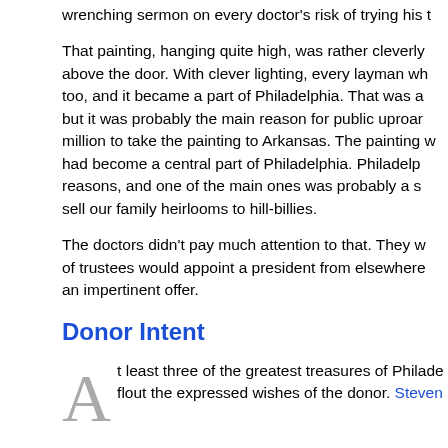wrenching sermon on every doctor's risk of trying his (text continues off-page)
That painting, hanging quite high, was rather cleverly above the door. With clever lighting, every layman wh too, and it became a part of Philadelphia. That was a but it was probably the main reason for public uproar million to take the painting to Arkansas. The painting w had become a central part of Philadelphia. Philadelp reasons, and one of the main ones was probably a s sell our family heirlooms to hill-billies.
The doctors didn't pay much attention to that. They w of trustees would appoint a president from elsewhere an impertinent offer.
Donor Intent
At least three of the greatest treasures of Philade flout the expressed wishes of the donor. Steven (text continues off-page)